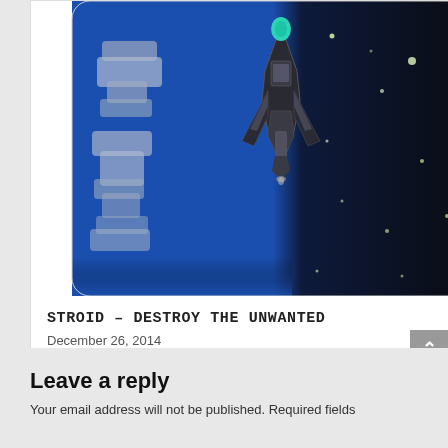[Figure (screenshot): A mobile game app screenshot showing a spaceship flying through space. The left half has a blue background with gray cloud/land shapes, and the right half is black space with glowing stars. A dark rocket/spaceship is centered flying upward with a teal highlight at the top.]
STROID – DESTROY THE UNWANTED
December 26, 2014
Leave a reply
Your email address will not be published. Required fields